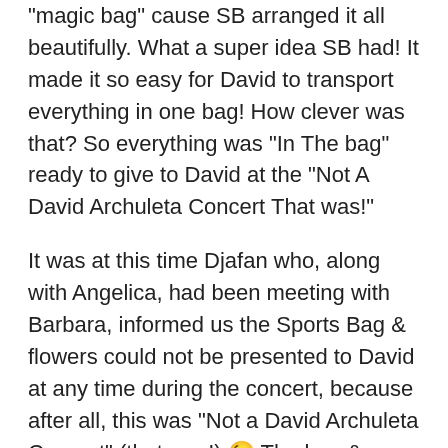“magic bag” cause SB arranged it all beautifully. What a super idea SB had! It made it so easy for David to transport everything in one bag! How clever was that? So everything was “In The bag” ready to give to David at the “Not A David Archuleta Concert That was!”
It was at this time Djafan who, along with Angelica, had been meeting with Barbara, informed us the Sports Bag & flowers could not be presented to David at any time during the concert, because after all, this was “Not a David Archuleta Concert” (that was!) 😉 The bag & flowers would have to be taken to his trailer before the start of his performance. However, that news, even though disappointing, did nothing to dampen out enthusiasm & knowing